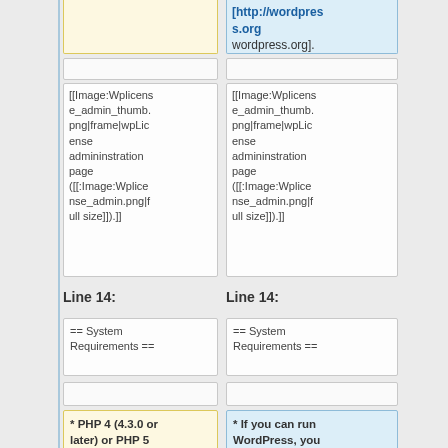[http://wordpress.org wordpress.org].
[[Image:Wplicense_admin_thumb.png|frame|wpLicense admininstration page ([[:Image:Wplicense_admin.png|full size]]).]]
[[Image:Wplicense_admin_thumb.png|frame|wpLicense admininstration page ([[:Image:Wplicense_admin.png|full size]]).]]
Line 14:
Line 14:
== System Requirements ==
== System Requirements ==
* PHP 4 (4.3.0 or later) or PHP 5
* If you can run WordPress, you